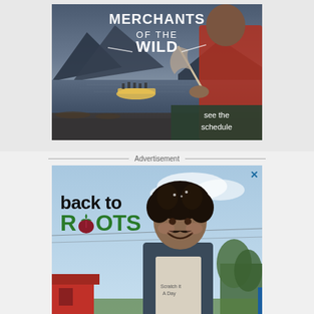[Figure (illustration): Promotional image for 'Merchants of the Wild' TV show. Dark scenic background with a mountain lake and a raft with people. In the foreground, a person in a red scarf holds a feather. White stylized text reads 'MERCHANTS OF THE WILD'. Bottom right has a dark green box with white text 'see the schedule'.]
Advertisement
[Figure (illustration): Promotional image for 'Back to Roots'. A smiling man with curly hair and a mustache wearing an apron stands outdoors. Bold text on the left reads 'BACK TO' in black and 'ROOTS' in dark green with an onion graphic. An X close button is in the top right corner. A blue scroll-to-top button appears at the bottom right.]